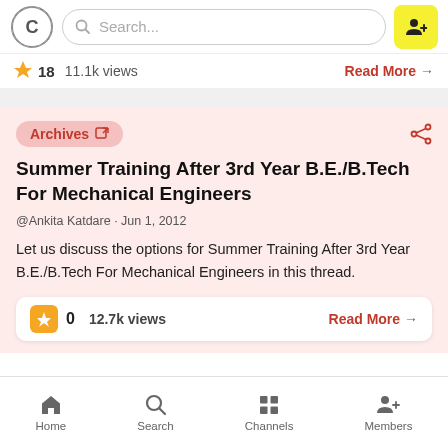Search...
18   11.1k views   Read More →
Archives
Summer Training After 3rd Year B.E./B.Tech For Mechanical Engineers
@Ankita Katdare · Jun 1, 2012
Let us discuss the options for Summer Training After 3rd Year B.E./B.Tech For Mechanical Engineers in this thread.
0   12.7k views   Read More →
Home   Search   Channels   Members